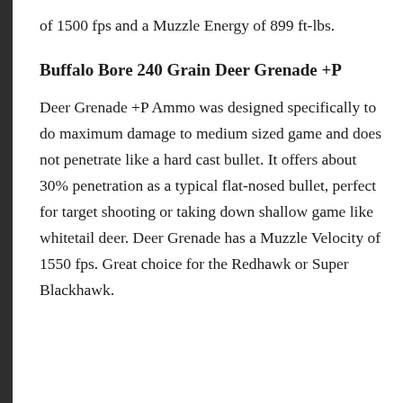of 1500 fps and a Muzzle Energy of 899 ft-lbs.
Buffalo Bore 240 Grain Deer Grenade +P
Deer Grenade +P Ammo was designed specifically to do maximum damage to medium sized game and does not penetrate like a hard cast bullet. It offers about 30% penetration as a typical flat-nosed bullet, perfect for target shooting or taking down shallow game like whitetail deer. Deer Grenade has a Muzzle Velocity of 1550 fps. Great choice for the Redhawk or Super Blackhawk.